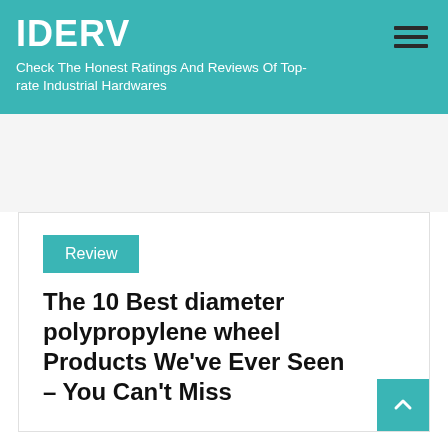IDERV
Check The Honest Ratings And Reviews Of Top-rate Industrial Hardwares
The 10 Best diameter polypropylene wheel Products We've Ever Seen – You Can't Miss
Review